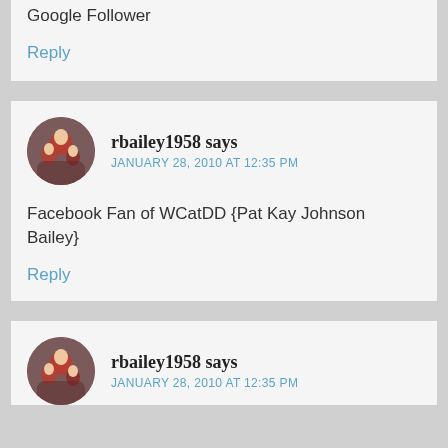Google Follower
Reply
rbailey1958 says
JANUARY 28, 2010 AT 12:35 PM
Facebook Fan of WCatDD {Pat Kay Johnson Bailey}
Reply
rbailey1958 says
JANUARY 28, 2010 AT 12:35 PM